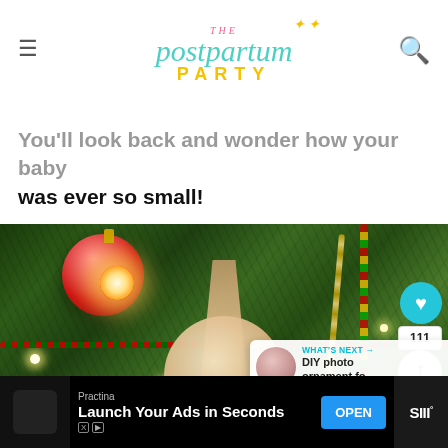THE postpartum PARTY
You'll look back and wonder how your baby was ever so small!
[Figure (photo): Close-up photo of a Christmas tree with green pine needles, a red ornament, warm string lights glowing, colorful bead garland, and a wooden disc ornament in the foreground with a ribbon hanger. A heart/like button (111), and a share button appear as overlays on the right side. A 'What's Next' panel shows a thumbnail and text 'DIY photo ornament fo...' in the bottom right corner.]
WHAT'S NEXT → DIY photo ornament fo...
Practina
Launch Your Ads in Seconds
OPEN